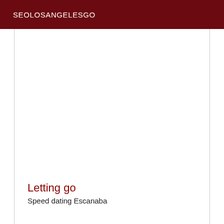SEOLOSANGELESGO
Letting go
Speed dating Escanaba